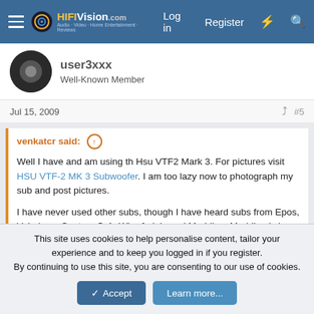HiFiVision.com — Log in | Register
user3000
Well-Known Member
Jul 15, 2009  #5
venkatcr said:
Well I have and am using th Hsu VTF2 Mark 3. For pictures visit HSU VTF-2 MK 3 Subwoofer. I am too lazy now to photograph my sub and post pictures.

I have never used other subs, though I have heard subs from Epos, Velodyne, Canton, Q-A, Wharfedale and Meridian. Meridian is in a different class, but I am happy with my sub as compared to the others I have mentioned. I don't remember, but I think I picked up the Hsu fo...
Click to expand...
This site uses cookies to help personalise content, tailor your experience and to keep you logged in if you register.
By continuing to use this site, you are consenting to our use of cookies.